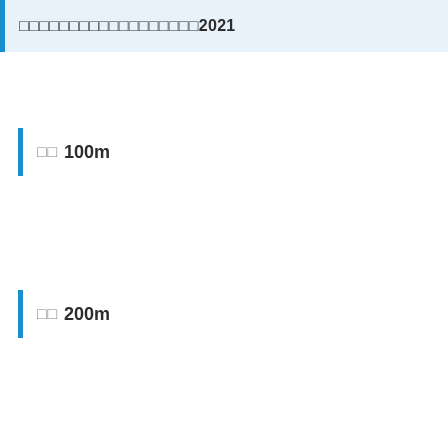□□□□□□□□□□□□□□□□□□2021
□□ 100m
□□ 200m
□□ 800m